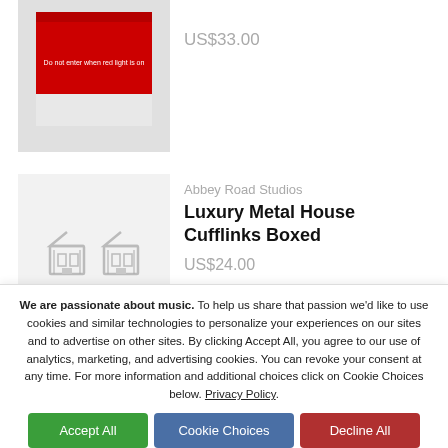[Figure (photo): Red 'Do not enter when red light is on' sign product image]
US$33.00
[Figure (photo): Two silver metal house-shaped cufflinks on white/grey background]
Abbey Road Studios
Luxury Metal House Cufflinks Boxed
US$24.00
We are passionate about music. To help us share that passion we'd like to use cookies and similar technologies to personalize your experiences on our sites and to advertise on other sites. By clicking Accept All, you agree to our use of analytics, marketing, and advertising cookies. You can revoke your consent at any time. For more information and additional choices click on Cookie Choices below. Privacy Policy.